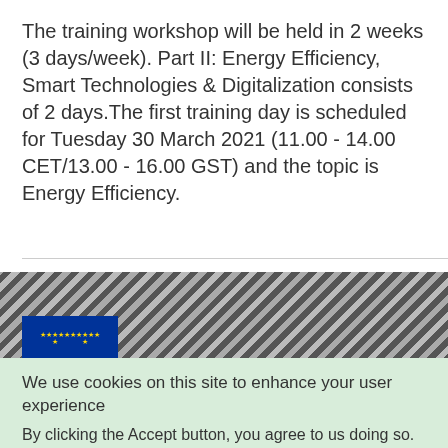The training workshop will be held in 2 weeks (3 days/week). Part II: Energy Efficiency, Smart Technologies & Digitalization consists of 2 days.The first training day is scheduled for Tuesday 30 March 2021 (11.00 - 14.00 CET/13.00 - 16.00 GST) and the topic is Energy Efficiency.
Read more
[Figure (photo): A partially visible banner image with diagonal stripe pattern and EU flag (blue with yellow stars) in the lower left portion of the strip.]
We use cookies on this site to enhance your user experience
By clicking the Accept button, you agree to us doing so.
I need more information